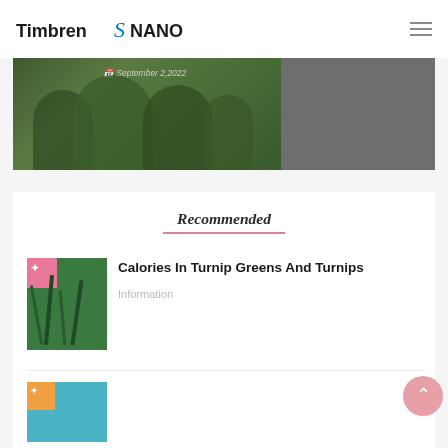Timbren NANO
[Figure (photo): Hero image showing green foliage/trees on the left portion and a gray panel on the right. A date text 'September 2, 2022' is visible overlaid on the image.]
Recommended
[Figure (photo): Thumbnail image of turnip greens with a pink corner badge with star icon, on a dark green background]
Calories In Turnip Greens And Turnips
Information
[Figure (photo): Second article thumbnail with teal/blue background and orange corner badge]